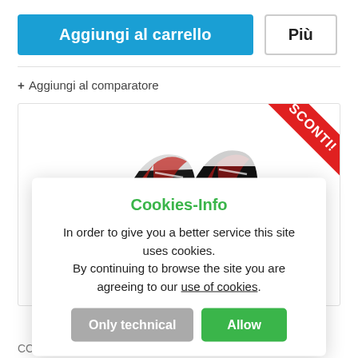[Figure (screenshot): Blue 'Aggiungi al carrello' button and grey 'Più' button in a row]
+ Aggiungi al comparatore
[Figure (photo): CCM hockey ice skate product image with red SCONTI! badge in top right corner]
Cookies-Info
In order to give you a better service this site uses cookies.
By continuing to browse the site you are agreeing to our use of cookies.
Only technical   Allow
CCM Skate...